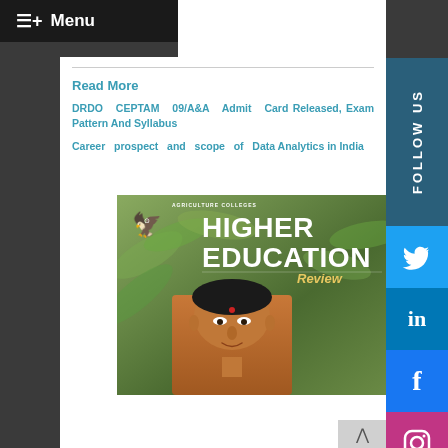≡+ Menu
Read More
DRDO CEPTAM 09/A&A Admit Card Released, Exam Pattern And Syllabus
Career prospect and scope of Data Analytics in India
[Figure (photo): Magazine cover of Higher Education Review featuring a man's portrait against a green leafy background with the magazine logo and title]
FOLLOW US